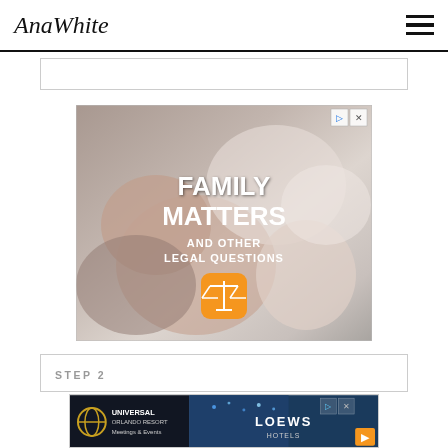AnaWhite
[Figure (screenshot): Partial content box at top of page]
[Figure (infographic): Advertisement banner: FAMILY MATTERS AND OTHER LEGAL QUESTIONS with baby image and scales of justice icon]
STEP 2
[Figure (screenshot): Bottom advertisement: Universal Orlando Resort Meetings & Events and Loews Hotels]